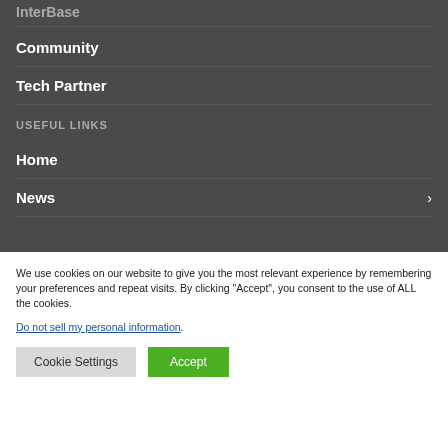InterBase
Community
Tech Partner
USEFUL LINKS
Home
News
We use cookies on our website to give you the most relevant experience by remembering your preferences and repeat visits. By clicking “Accept”, you consent to the use of ALL the cookies.
Do not sell my personal information.
Cookie Settings
Accept